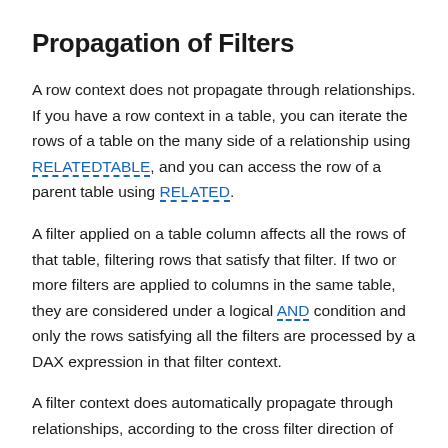Propagation of Filters
A row context does not propagate through relationships. If you have a row context in a table, you can iterate the rows of a table on the many side of a relationship using RELATEDTABLE, and you can access the row of a parent table using RELATED.
A filter applied on a table column affects all the rows of that table, filtering rows that satisfy that filter. If two or more filters are applied to columns in the same table, they are considered under a logical AND condition and only the rows satisfying all the filters are processed by a DAX expression in that filter context.
A filter context does automatically propagate through relationships, according to the cross filter direction of the relationship.